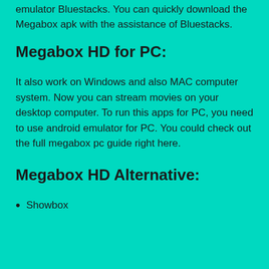emulator Bluestacks. You can quickly download the Megabox apk with the assistance of Bluestacks.
Megabox HD for PC:
It also work on Windows and also MAC computer system. Now you can stream movies on your desktop computer. To run this apps for PC, you need to use android emulator for PC. You could check out the full megabox pc guide right here.
Megabox HD Alternative:
Showbox